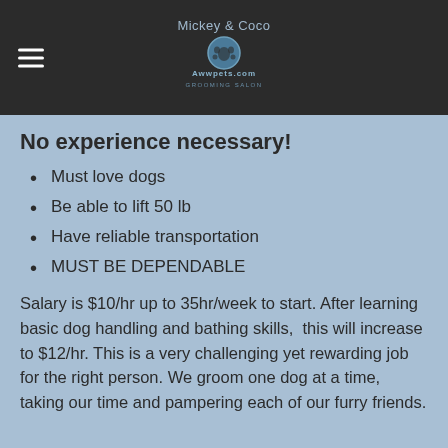Mickey and Coco Awwpets.com
No experience necessary!
Must love dogs
Be able to lift 50 lb
Have reliable transportation
MUST BE DEPENDABLE
Salary is $10/hr up to 35hr/week to start. After learning basic dog handling and bathing skills,  this will increase to $12/hr. This is a very challenging yet rewarding job for the right person. We groom one dog at a time, taking our time and pampering each of our furry friends.